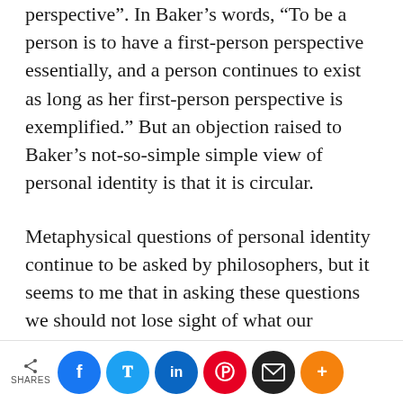perspective". In Baker’s words, “To be a person is to have a first-person perspective essentially, and a person continues to exist as long as her first-person perspective is exemplified.” But an objection raised to Baker’s not-so-simple simple view of personal identity is that it is circular.
Metaphysical questions of personal identity continue to be asked by philosophers, but it seems to me that in asking these questions we should not lose sight of what our personal identity means
SHARES | Facebook | Twitter | LinkedIn | Pinterest | Email | More